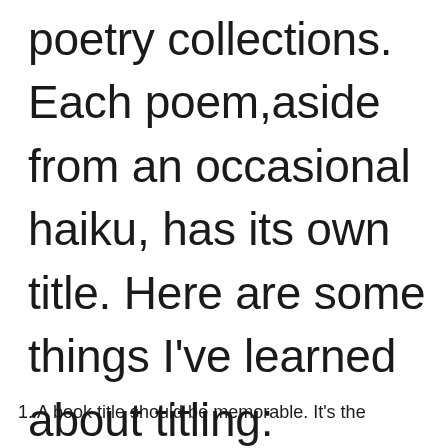poetry collections. Each poem,aside from an occasional haiku, has its own title. Here are some things I've learned about titling:
1. A book title should be memorable. It's the